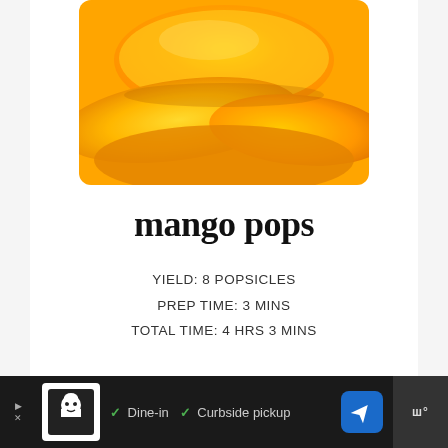[Figure (photo): Close-up photo of yellow/orange mango popsicles stacked together, with rounded edges, showing vibrant golden yellow color]
mango pops
YIELD: 8 POPSICLES
PREP TIME: 3 MINS
TOTAL TIME: 4 HRS 3 MINS
[Figure (screenshot): Advertisement bar at bottom: dark background with restaurant logo, checkmarks for Dine-in and Curbside pickup, navigation icon, and menu icon on right]